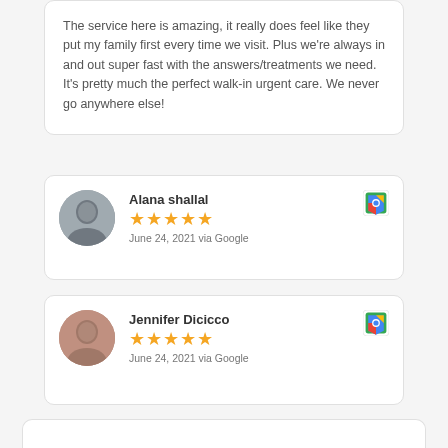The service here is amazing, it really does feel like they put my family first every time we visit. Plus we're always in and out super fast with the answers/treatments we need. It's pretty much the perfect walk-in urgent care. We never go anywhere else!
Alana shallal
★★★★★
June 24, 2021 via Google
Jennifer Dicicco
★★★★★
June 24, 2021 via Google